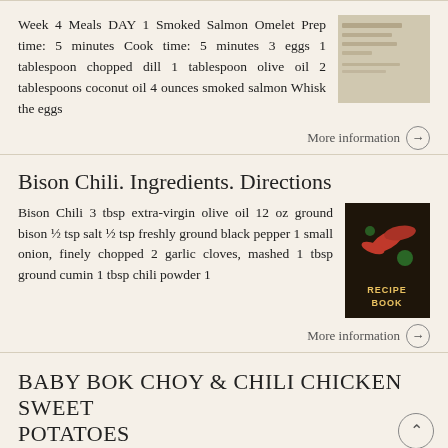Week 4 Meals DAY 1 Smoked Salmon Omelet Prep time: 5 minutes Cook time: 5 minutes 3 eggs 1 tablespoon chopped dill 1 tablespoon olive oil 2 tablespoons coconut oil 4 ounces smoked salmon Whisk the eggs
More information →
Bison Chili. Ingredients. Directions
Bison Chili 3 tbsp extra-virgin olive oil 12 oz ground bison ½ tsp salt ½ tsp freshly ground black pepper 1 small onion, finely chopped 2 garlic cloves, mashed 1 tbsp ground cumin 1 tbsp chili powder 1
[Figure (photo): Recipe book cover image with chili ingredients]
More information →
BABY BOK CHOY & CHILI CHICKEN SWEET POTATOES